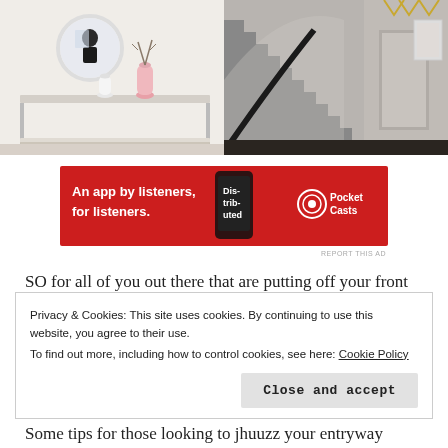[Figure (photo): Left photo: modern entryway with round mirror, person taking selfie, console table with pink vase and white vase]
[Figure (photo): Right photo: elegant staircase with grey carpet runner, black banister, hallway with dark wood floors]
[Figure (infographic): Pocket Casts advertisement banner: red background, 'An app by listeners, for listeners.' text, phone showing app, Pocket Casts logo]
SO for all of you out there that are putting off your front
Privacy & Cookies: This site uses cookies. By continuing to use this website, you agree to their use.
To find out more, including how to control cookies, see here: Cookie Policy
Close and accept
Some tips for those looking to jhuuzz your entryway